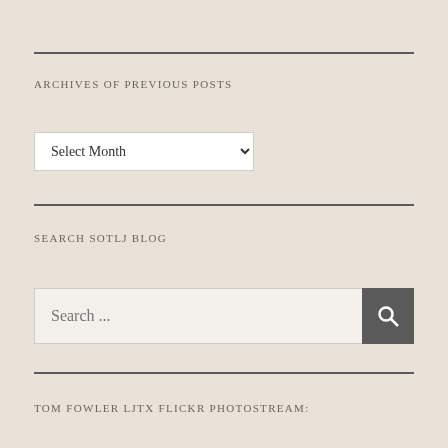ARCHIVES OF PREVIOUS POSTS
Select Month
SEARCH SOTLJ BLOG
Search ...
TOM FOWLER LJTX FLICKR PHOTOSTREAM: